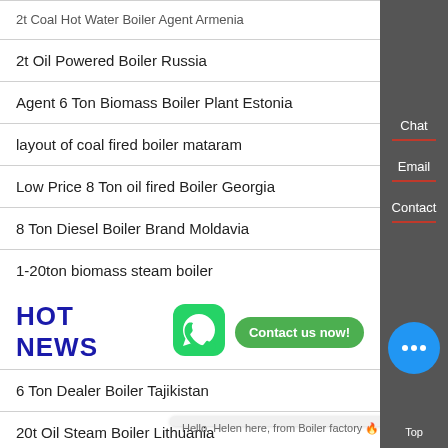2t Coal Hot Water Boiler Agent Armenia
2t Oil Powered Boiler Russia
Agent 6 Ton Biomass Boiler Plant Estonia
layout of coal fired boiler mataram
Low Price 8 Ton oil fired Boiler Georgia
8 Ton Diesel Boiler Brand Moldavia
1-20ton biomass steam boiler
HOT NEWS
6 Ton Dealer Boiler Tajikistan
20t Oil Steam Boiler Lithuania